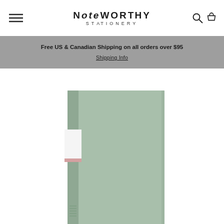NOTEWORTHY STATIONERY
Free US & Canadian Shipping on all orders over $95
Shipping Info
[Figure (photo): Sage green notebook with a white and pink label on the spine, standing upright on a white background.]